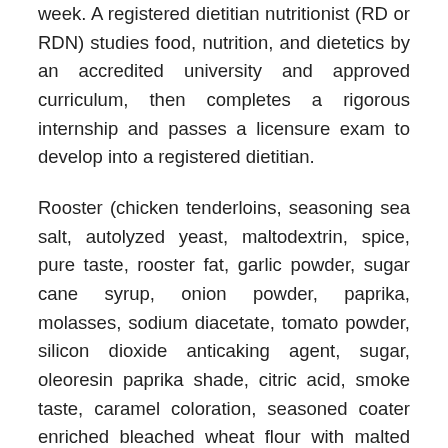week. A registered dietitian nutritionist (RD or RDN) studies food, nutrition, and dietetics by an accredited university and approved curriculum, then completes a rigorous internship and passes a licensure exam to develop into a registered dietitian.
Rooster (chicken tenderloins, seasoning sea salt, autolyzed yeast, maltodextrin, spice, pure taste, rooster fat, garlic powder, sugar cane syrup, onion powder, paprika, molasses, sodium diacetate, tomato powder, silicon dioxide anticaking agent, sugar, oleoresin paprika shade, citric acid, smoke taste, caramel coloration, seasoned coater enriched bleached wheat flour with malted barley flour, niacin, iron, thiamine mononitrate, riboflavin, folic acid, sugar, salt, monosodium glutamate, nonfat milk, leavening